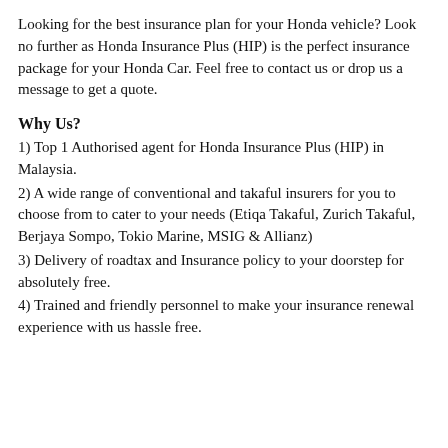Looking for the best insurance plan for your Honda vehicle? Look no further as Honda Insurance Plus (HIP) is the perfect insurance package for your Honda Car. Feel free to contact us or drop us a message to get a quote.
Why Us?
1) Top 1 Authorised agent for Honda Insurance Plus (HIP) in Malaysia.
2) A wide range of conventional and takaful insurers for you to choose from to cater to your needs (Etiqa Takaful, Zurich Takaful, Berjaya Sompo, Tokio Marine, MSIG & Allianz)
3) Delivery of roadtax and Insurance policy to your doorstep for absolutely free.
4) Trained and friendly personnel to make your insurance renewal experience with us hassle free.